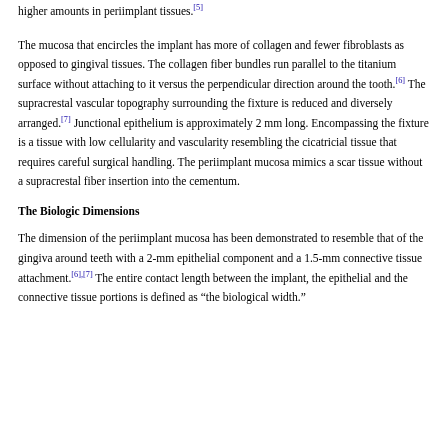higher amounts in periimplant tissues.[5]
The mucosa that encircles the implant has more of collagen and fewer fibroblasts as opposed to gingival tissues. The collagen fiber bundles run parallel to the titanium surface without attaching to it versus the perpendicular direction around the tooth.[6] The supracrestal vascular topography surrounding the fixture is reduced and diversely arranged.[7] Junctional epithelium is approximately 2 mm long. Encompassing the fixture is a tissue with low cellularity and vascularity resembling the cicatricial tissue that requires careful surgical handling. The periimplant mucosa mimics a scar tissue without a supracrestal fiber insertion into the cementum.
The Biologic Dimensions
The dimension of the periimplant mucosa has been demonstrated to resemble that of the gingiva around teeth with a 2-mm epithelial component and a 1.5-mm connective tissue attachment.[6],[7] The entire contact length between the implant, the epithelial and the connective tissue portions is defined as "the biological width."